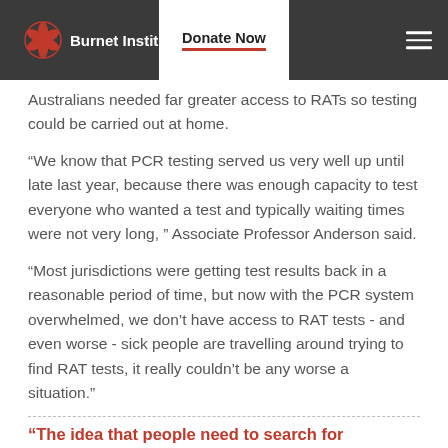Burnet Institute | Donate Now
Australians needed far greater access to RATs so testing could be carried out at home.
“We know that PCR testing served us very well up until late last year, because there was enough capacity to test everyone who wanted a test and typically waiting times were not very long, ” Associate Professor Anderson said.
“Most jurisdictions were getting test results back in a reasonable period of time, but now with the PCR system overwhelmed, we don’t have access to RAT tests - and even worse - sick people are travelling around trying to find RAT tests, it really couldn’t be any worse a situation.”
“The idea that people need to search for